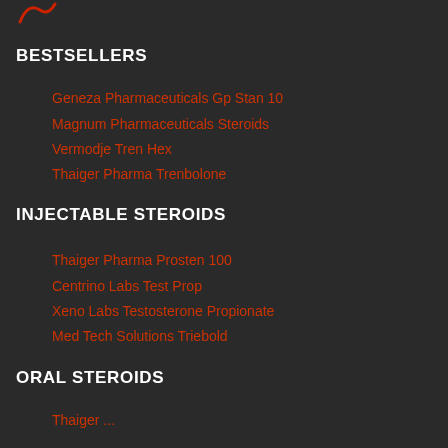[Figure (logo): Red logo/icon in upper left corner]
BESTSELLERS
Geneza Pharmaceuticals Gp Stan 10
Magnum Pharmaceuticals Steroids
Vermodje Tren Hex
Thaiger Pharma Trenbolone
INJECTABLE STEROIDS
Thaiger Pharma Prosten 100
Centrino Labs Test Prop
Xeno Labs Testosterone Propionate
Med Tech Solutions Triebold
ORAL STEROIDS
Thaiger ...